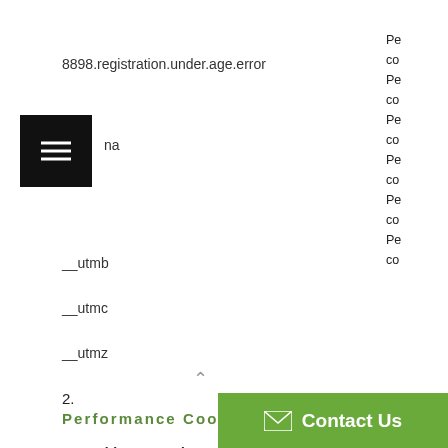8898.registration.under.age.error
[Figure (other): Black square hamburger menu button with three white horizontal lines]
__utmb
__utmc
__utmz
2.
Performance Cookies
Everything5pounds.co.uk uses 'Performance' cookies to:
Provide statistics on how our website is used
Help us improve the website by measuring any errors that occur
Test different designs of our website
Cookies Everything5pounds.co.uk has 'Performance' cookies will NOT be use...